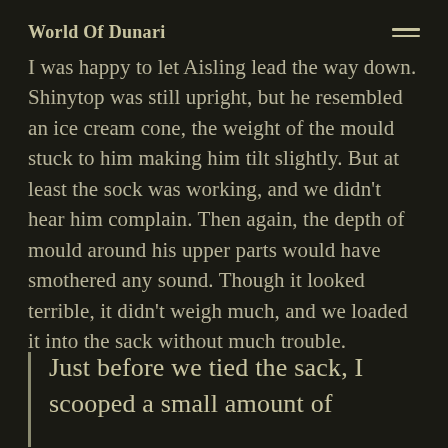World Of Dunari
I was happy to let Aisling lead the way down. Shinytop was still upright, but he resembled an ice cream cone, the weight of the mould stuck to him making him tilt slightly. But at least the sock was working, and we didn't hear him complain. Then again, the depth of mould around his upper parts would have smothered any sound. Though it looked terrible, it didn't weigh much, and we loaded it into the sack without much trouble.
Just before we tied the sack, I scooped a small amount of